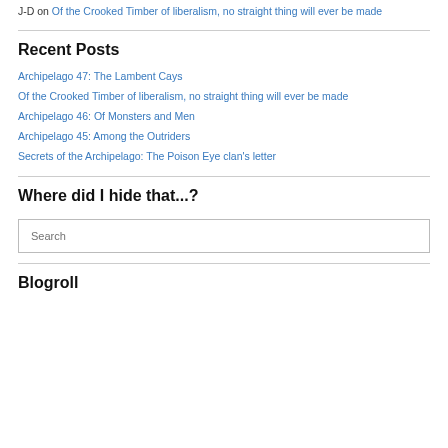J-D on Of the Crooked Timber of liberalism, no straight thing will ever be made
Recent Posts
Archipelago 47: The Lambent Cays
Of the Crooked Timber of liberalism, no straight thing will ever be made
Archipelago 46: Of Monsters and Men
Archipelago 45: Among the Outriders
Secrets of the Archipelago: The Poison Eye clan's letter
Where did I hide that...?
Search
Blogroll